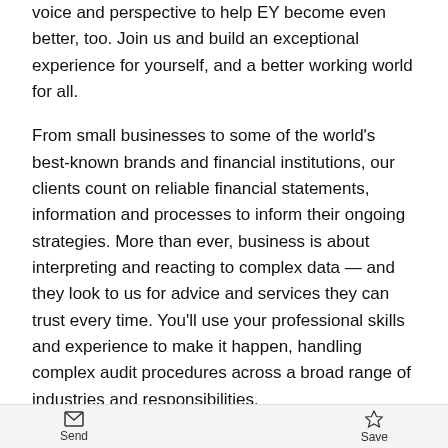voice and perspective to help EY become even better, too. Join us and build an exceptional experience for yourself, and a better working world for all.
From small businesses to some of the world's best-known brands and financial institutions, our clients count on reliable financial statements, information and processes to inform their ongoing strategies. More than ever, business is about interpreting and reacting to complex data — and they look to us for advice and services they can trust every time. You'll use your professional skills and experience to make it happen, handling complex audit procedures across a broad range of industries and responsibilities.
The opportunity
The EY Malta Assurance Department specialises in
Send   Save